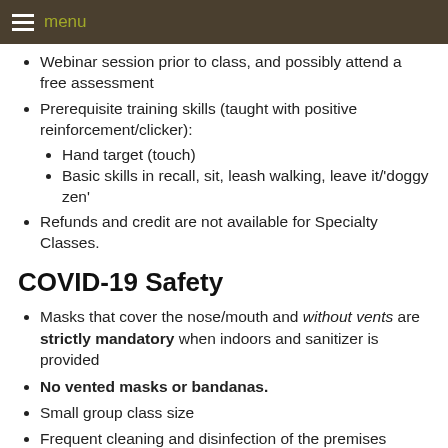menu
Webinar session prior to class, and possibly attend a free assessment
Prerequisite training skills (taught with positive reinforcement/clicker):
Hand target (touch)
Basic skills in recall, sit, leash walking, leave it/'doggy zen'
Refunds and credit are not available for Specialty Classes.
COVID-19 Safety
Masks that cover the nose/mouth and without vents are strictly mandatory when indoors and sanitizer is provided
No vented masks or bandanas.
Small group class size
Frequent cleaning and disinfection of the premises
Social/Physical Distancing in effect